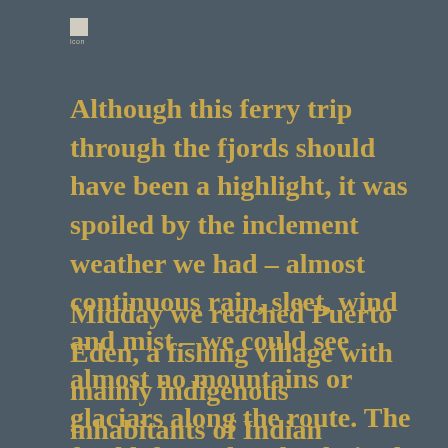[Figure (other): Small white/light square icon with a label beneath it, positioned in the top-left area of the page]
Although this ferry trip through the fjords should have been a highlight, it was spoiled by the inclement weather we had – almost continuous rain, sleet, wind and mist – we could see almost no mountains or glaciars along the route. The food left much to be desired and so did the comfort of the seats which reclined for sleeping.
Midday we reached Puerto Eden, a fishing village with mainly indigenous inhabitants of Indian descent, inside the massive 3.525mill ha national park Bernardo O'Higgins. The town has virtually no vehicles or roads, mainly